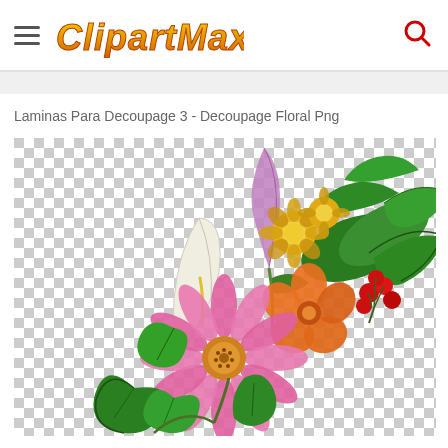CLIPARTMAX
Laminas Para Decoupage 3 - Decoupage Floral Png
[Figure (illustration): A floral clipart arrangement on a transparent (checkerboard) background, featuring a large pink daisy, a white calla lily, yellow flowers, an orange hydrangea, red berries, and multiple large green serrated leaves.]